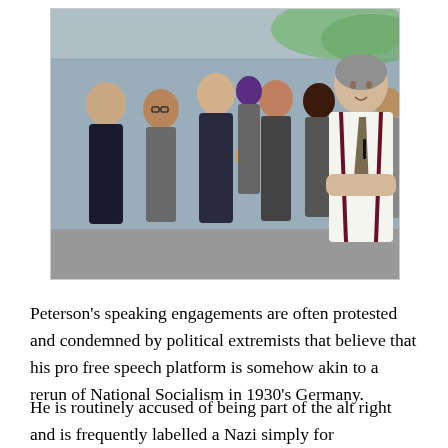[Figure (photo): A man in a white shirt, suspenders, and tie stands with arms crossed speaking to a group of young people outdoors under a canopy or overhang.]
Peterson's speaking engagements are often protested and condemned by political extremists that believe that his pro free speech platform is somehow akin to a rerun of National Socialism in 1930's Germany.
He is routinely accused of being part of the alt right and is frequently labelled a Nazi simply for disagreeing with